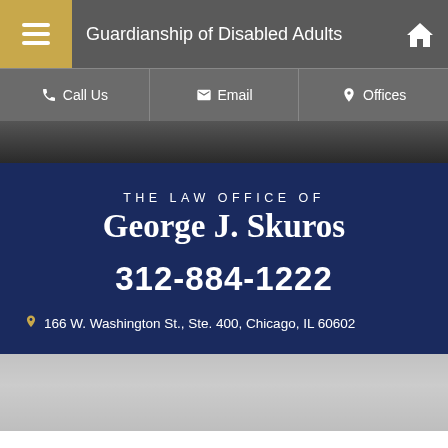Guardianship of Disabled Adults
Call Us | Email | Offices
[Figure (screenshot): Dark blurred background photo strip]
THE LAW OFFICE OF George J. Skuros
312-884-1222
166 W. Washington St., Ste. 400, Chicago, IL 60602
[Figure (photo): Faded light gray background photo of a courthouse or building]